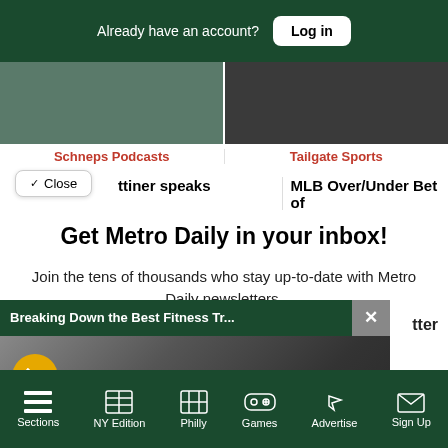Already have an account? Log in
Schneps Podcasts
Tailgate Sports
ttiner speaks
MLB Over/Under Bet of
Get Metro Daily in your inbox!
Join the tens of thousands who stay up-to-date with Metro Daily newsletters.
[Figure (screenshot): Video popup showing fitness trackers with title 'Breaking Down the Best Fitness Tr...' on dark green bar with close X button, and a muted video icon]
tter
Sections  NY Edition  Philly  Games  Advertise  Sign Up